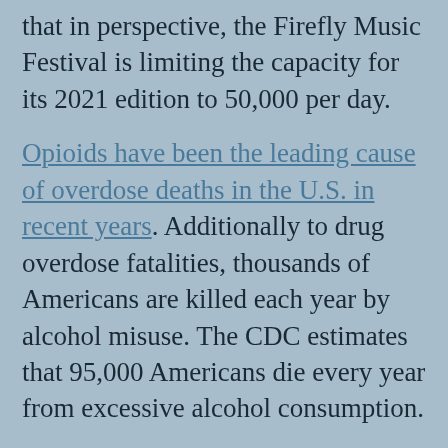that in perspective, the Firefly Music Festival is limiting the capacity for its 2021 edition to 50,000 per day.
Opioids have been the leading cause of overdose deaths in the U.S. in recent years. Additionally to drug overdose fatalities, thousands of Americans are killed each year by alcohol misuse. The CDC estimates that 95,000 Americans die every year from excessive alcohol consumption.
Most concerning, however, synthetic opioid-related fatalities have increased by 55% during the 12 months ending in September 2020.
"We've seen a very significant rise in mortality," said Dr. Nora Volkow,